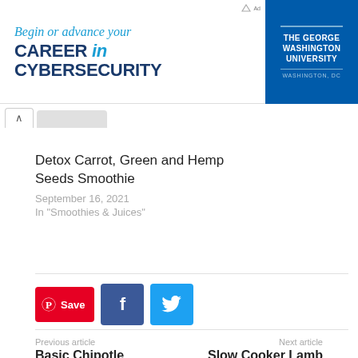[Figure (other): Advertisement banner for The George Washington University: 'Begin or advance your CAREER in CYBERSECURITY' with university logo on blue background]
Detox Carrot, Green and Hemp Seeds Smoothie
September 16, 2021
In "Smoothies & Juices"
[Figure (other): Social share buttons: Pinterest Save button (red), Facebook button (dark blue), Twitter bird button (light blue)]
Previous article
Basic Chipotle Chicken
Next article
Slow Cooker Lamb Shank